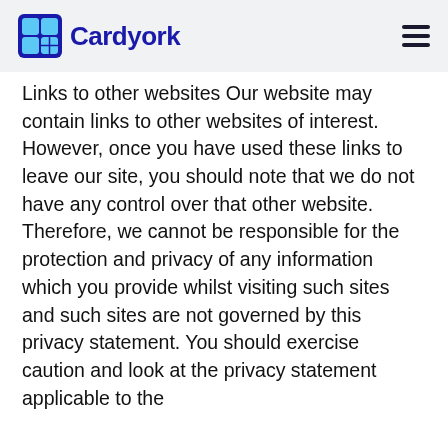Cardyork
Links to other websites Our website may contain links to other websites of interest. However, once you have used these links to leave our site, you should note that we do not have any control over that other website. Therefore, we cannot be responsible for the protection and privacy of any information which you provide whilst visiting such sites and such sites are not governed by this privacy statement. You should exercise caution and look at the privacy statement applicable to the